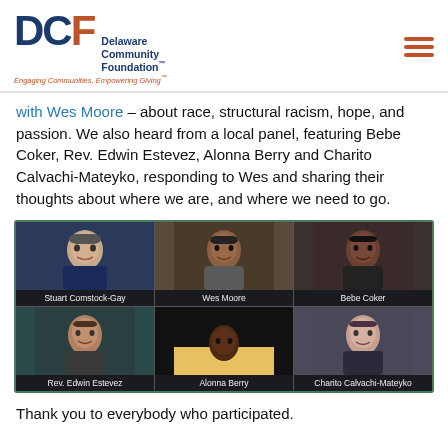DCF Delaware Community Foundation™ — Engaging Communities, Empowering Giving™
with Wes Moore – about race, structural racism, hope, and passion. We also heard from a local panel, featuring Bebe Coker, Rev. Edwin Estevez, Alonna Berry and Charito Calvachi-Mateyko, responding to Wes and sharing their thoughts about where we are, and where we need to go.
[Figure (photo): Virtual panel screenshot showing six participants in a video call grid: Stuart Comstock-Gay, Wes Moore, Bebe Coker (top row); Rev. Edwin Estevez, Alonna Berry, Charito Calvachi-Mateyko (bottom row)]
Thank you to everybody who participated.